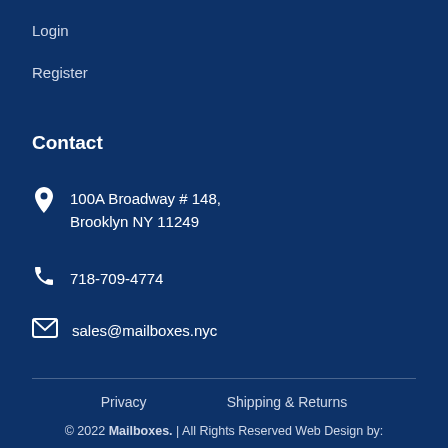Login
Register
Contact
100A Broadway # 148, Brooklyn NY 11249
718-709-4774
sales@mailboxes.nyc
Privacy    Shipping & Returns
© 2022 Mailboxes. | All Rights Reserved Web Design by:
Universal NYC